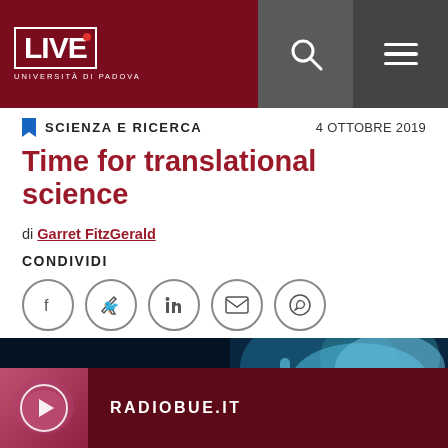LIVE Università di Padova — Search — Menu
SCIENZA E RICERCA
4 OTTOBRE 2019
Time for translational science
di Garret FitzGerald
CONDIVIDI
[Figure (photo): Laboratory photo showing gloved hands holding a test tube or laboratory glassware, tinted in blue tones.]
[Figure (photo): Radio thumbnail image with play button circle, pink/red tones]
RADIOBUE.IT